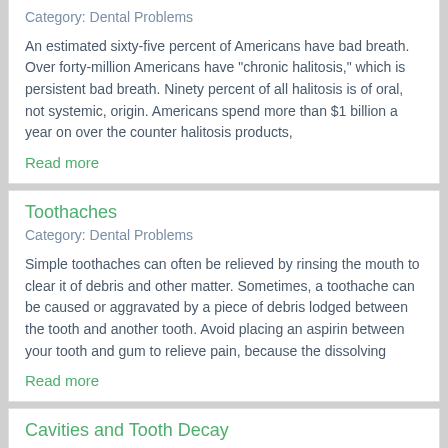Category: Dental Problems
An estimated sixty-five percent of Americans have bad breath. Over forty-million Americans have "chronic halitosis," which is persistent bad breath. Ninety percent of all halitosis is of oral, not systemic, origin. Americans spend more than $1 billion a year on over the counter halitosis products,
Read more
Toothaches
Category: Dental Problems
Simple toothaches can often be relieved by rinsing the mouth to clear it of debris and other matter. Sometimes, a toothache can be caused or aggravated by a piece of debris lodged between the tooth and another tooth. Avoid placing an aspirin between your tooth and gum to relieve pain, because the dissolving
Read more
Cavities and Tooth Decay
Category: Dental Problems
What Is Tooth Decay? Tooth decay is caused by a variety of things; in medical terms, cavities are called caries, which are